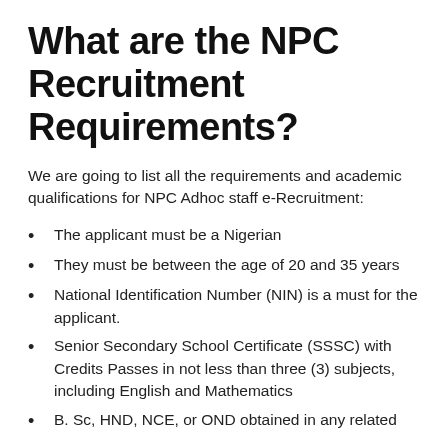What are the NPC Recruitment Requirements?
We are going to list all the requirements and academic qualifications for NPC Adhoc staff e-Recruitment:
The applicant must be a Nigerian
They must be between the age of 20 and 35 years
National Identification Number (NIN) is a must for the applicant.
Senior Secondary School Certificate (SSSC) with Credits Passes in not less than three (3) subjects, including English and Mathematics
B. Sc, HND, NCE, or OND obtained in any related